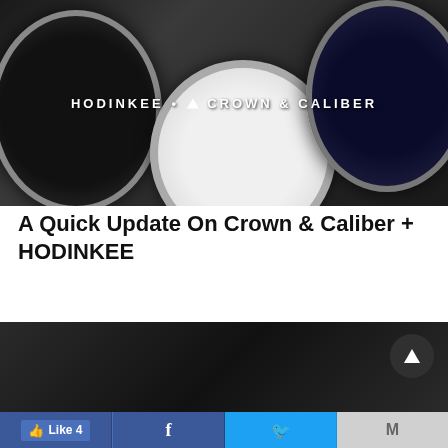[Figure (photo): Dark background photo of multiple luxury watches including what appears to be a Rolex and Omega Speedmaster, with white text overlay reading 'HODINKEE • CROWN & CALIBER']
A Quick Update On Crown & Caliber + HODINKEE
[Figure (screenshot): Second image of luxury watches on dark background with a play button (triangle icon) in the upper right corner]
Like 4 | Facebook | Twitter | M (Email)